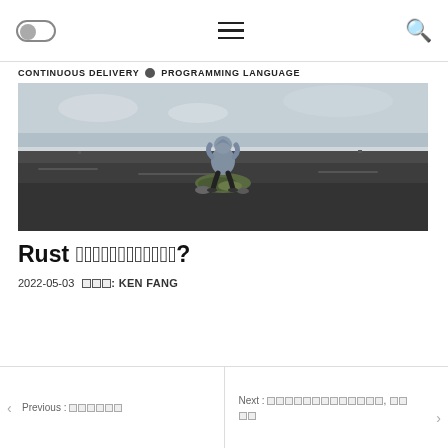Toggle | Menu | Search
CONTINUOUS DELIVERY · PROGRAMMING LANGUAGE
[Figure (photo): A person in a hoodie standing on a rock in a vast dark flat landscape under an overcast sky]
Rust □□□□□□□□□□□□?
2022-05-03  □□□: KEN FANG
Previous : □□□□□□
Next : □□□□□□□□□□□□□, □□□□